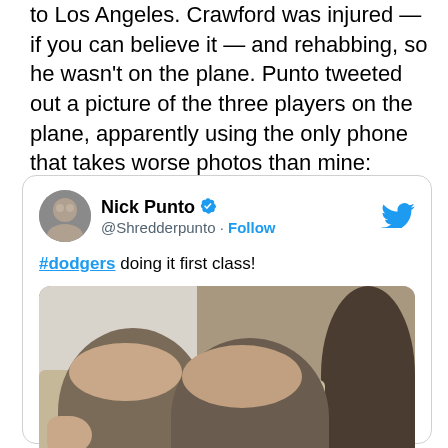to Los Angeles. Crawford was injured — if you can believe it — and rehabbing, so he wasn't on the plane. Punto tweeted out a picture of the three players on the plane, apparently using the only phone that takes worse photos than mine:
[Figure (screenshot): Embedded tweet from Nick Punto (@Shredderpunto) with a verified checkmark and Follow button, captioned '#dodgers doing it first class!' with an attached blurry selfie photo of players on a plane.]